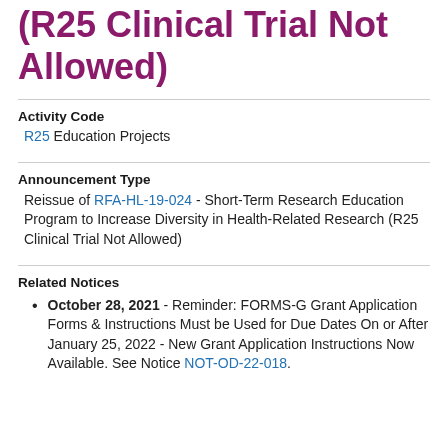(R25 Clinical Trial Not Allowed)
Activity Code
R25 Education Projects
Announcement Type
Reissue of RFA-HL-19-024 - Short-Term Research Education Program to Increase Diversity in Health-Related Research (R25 Clinical Trial Not Allowed)
Related Notices
October 28, 2021 - Reminder: FORMS-G Grant Application Forms & Instructions Must be Used for Due Dates On or After January 25, 2022 - New Grant Application Instructions Now Available. See Notice NOT-OD-22-018.